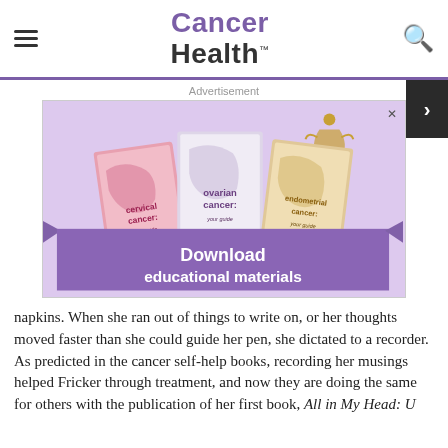Cancer Health
Advertisement
[Figure (illustration): Advertisement for Foundation for Women's Cancer showing three booklets: cervical cancer, ovarian cancer, and endometrial cancer, with a purple ribbon banner reading 'Download educational materials']
napkins. When she ran out of things to write on, or her thoughts moved faster than she could guide her pen, she dictated to a recorder. As predicted in the cancer self-help books, recording her musings helped Fricker through treatment, and now they are doing the same for others with the publication of her first book, All in My Head: ...